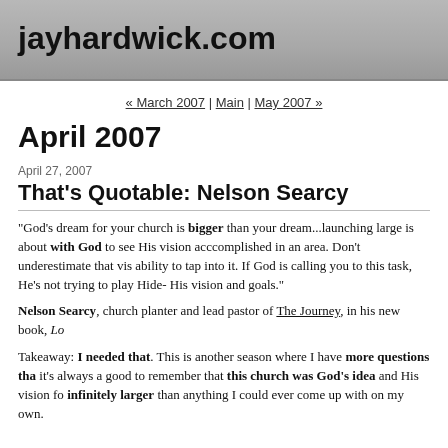jayhardwick.com
« March 2007 | Main | May 2007 »
April 2007
April 27, 2007
That's Quotable: Nelson Searcy
"God's dream for your church is bigger than your dream...launching large is about with God to see His vision acccomplished in an area. Don't underestimate that vis ability to tap into it. If God is calling you to this task, He's not trying to play Hide- His vision and goals."
Nelson Searcy, church planter and lead pastor of The Journey, in his new book, Lo
Takeaway: I needed that. This is another season where I have more questions tha it's always a good to remember that this church was God's idea and His vision fo infinitely larger than anything I could ever come up with on my own.